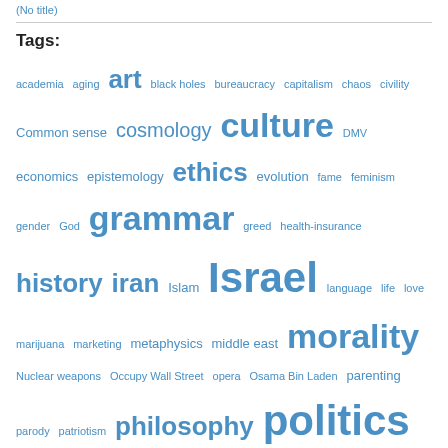(No title)
Tags:
academia aging art black holes bureaucracy capitalism chaos civility Common sense cosmology culture DMV economics epistemology ethics evolution fame feminism gender God grammar greed health-insurance history iran Islam Israel language life love marijuana marketing metaphysics middle east morality Nuclear weapons Occupy Wall Street opera Osama Bin Laden parenting parody patriotism philosophy politics pop culture proof psychology religion republican debate science scientific method sex Shakespeare technology terrorism the little guy the universe
Archives
September 2022 (1)